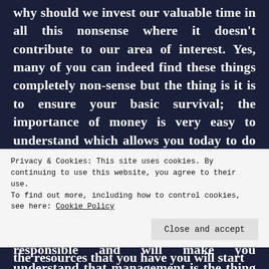why should we invest our valuable time in all this nonsense where it doesn't contribute to our area of interest. Yes, many of you can indeed find these things completely non-sense but the thing is it is to ensure your basic survival; the importance of money is very easy to understand which allows you today to do what you are willing to do today. Having money is good till it remains in your pocket. But if it reaches your brain then it will be a massive disaster. So, feeding above the neck will make you a little responsible and will make you understand that management is the thing which
Privacy & Cookies: This site uses cookies. By continuing to use this website, you agree to their use.
To find out more, including how to control cookies, see here: Cookie Policy
Close and accept
the resources that you have you will start